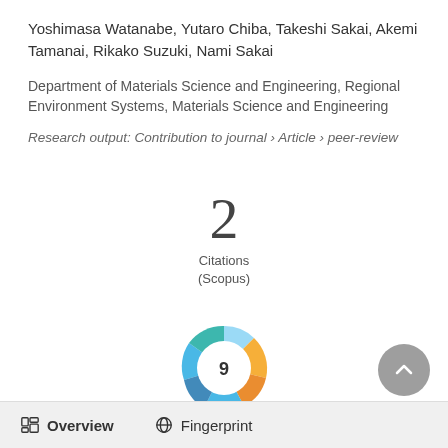Yoshimasa Watanabe, Yutaro Chiba, Takeshi Sakai, Akemi Tamanai, Rikako Suzuki, Nami Sakai
Department of Materials Science and Engineering, Regional Environment Systems, Materials Science and Engineering
Research output: Contribution to journal › Article › peer-review
2
Citations
(Scopus)
[Figure (other): Altmetric donut badge showing score of 9, with blue, teal, yellow-orange swirling ring segments around white center circle containing the number 9]
Overview
Fingerprint